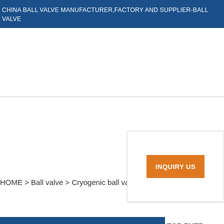CHINA BALL VALVE MANUFACTURER,FACTORY AND SUPPLIER-BALL VALVE
HOME > Ball valve > Cryogenic ball valve >
INQUIRY US
TOP ENTR